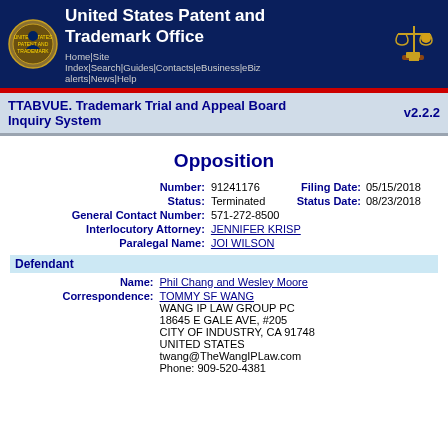United States Patent and Trademark Office
Home | Site Index | Search | Guides | Contacts | eBusiness | eBiz alerts | News | Help
TTABVUE. Trademark Trial and Appeal Board Inquiry System v2.2.2
Opposition
| Field | Value |
| --- | --- |
| Number: | 91241176 |
| Filing Date: | 05/15/2018 |
| Status: | Terminated |
| Status Date: | 08/23/2018 |
| General Contact Number: | 571-272-8500 |
| Interlocutory Attorney: | JENNIFER KRISP |
| Paralegal Name: | JOI WILSON |
Defendant
| Field | Value |
| --- | --- |
| Name: | Phil Chang and Wesley Moore |
| Correspondence: | TOMMY SF WANG
WANG IP LAW GROUP PC
18645 E GALE AVE, #205
CITY OF INDUSTRY, CA 91748
UNITED STATES
twang@TheWangIPLaw.com
Phone: 909-520-4381 |